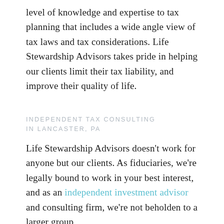level of knowledge and expertise to tax planning that includes a wide angle view of tax laws and tax considerations. Life Stewardship Advisors takes pride in helping our clients limit their tax liability, and improve their quality of life.
INDEPENDENT TAX CONSULTING IN LANCASTER, PA
Life Stewardship Advisors doesn't work for anyone but our clients. As fiduciaries, we're legally bound to work in your best interest, and as an independent investment advisor and consulting firm, we're not beholden to a larger group,